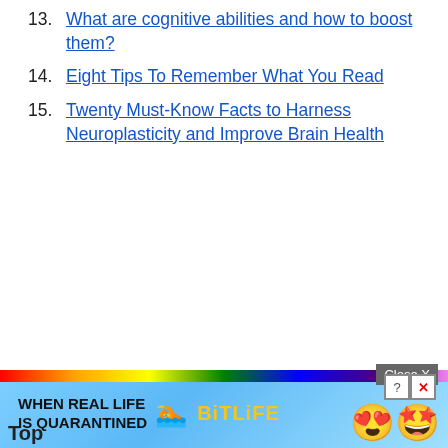13. What are cognitive abilities and how to boost them?
14. Eight Tips To Remember What You Read
15. Twenty Must-Know Facts to Harness Neuroplasticity and Improve Brain Health
[Figure (screenshot): Advertisement banner for BitLife game with rainbow strip, colorful background, and emoji characters. Close X button visible. 'Top' text partially visible at bottom left.]